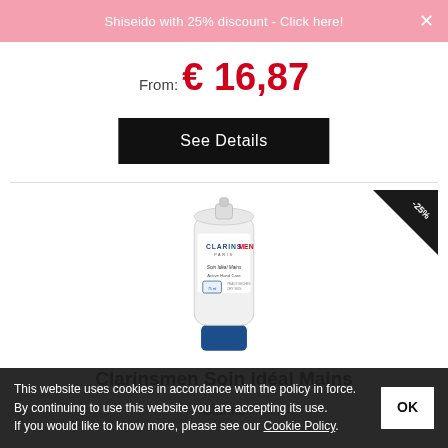Shiseido with 25% discount - Click here!
From: € 16,87
See Details
[Figure (photo): Clarinsmen Soin Idéal Mains hand care tube product with blue cap, white body with blue and red branding. Corner badge showing -25% discount.]
Clarinsmen Soin Idéal Mains
Clarins
This website uses cookies in accordance with the policy in force. By continuing to use this website you are accepting its use. If you would like to know more, please see our Cookie Policy.